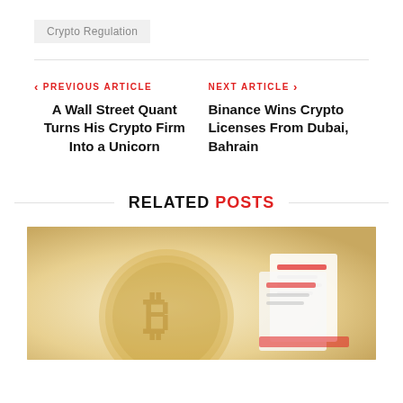Crypto Regulation
PREVIOUS ARTICLE
A Wall Street Quant Turns His Crypto Firm Into a Unicorn
NEXT ARTICLE
Binance Wins Crypto Licenses From Dubai, Bahrain
RELATED POSTS
[Figure (photo): Photo of a Bitcoin coin and documents with red accents on a warm beige/golden background]